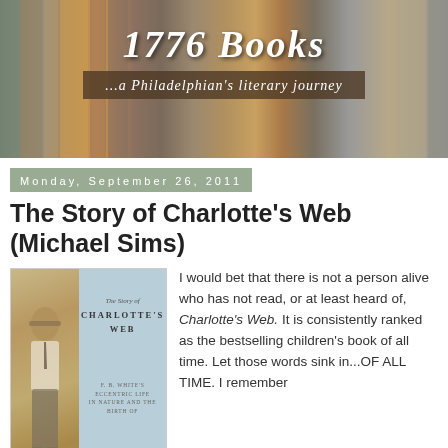[Figure (illustration): Blog header image for '1776 Books' showing a bookshelf background with the title '1776 Books' in large italic text and subtitle '...a Philadelphian's literary journey' on a dark brown banner.]
Monday, September 26, 2011
The Story of Charlotte's Web (Michael Sims)
[Figure (photo): Book cover of 'The Story of Charlotte's Web' by Michael Sims, showing a vintage photo of a young boy on the left side and the book title text on the right side on a light blue background. Bottom text reads 'E. B. White's Eccentric Life in Nature and the Birth of'.]
I would bet that there is not a person alive who has not read, or at least heard of, Charlotte's Web. It is consistently ranked as the bestselling children's book of all time. Let those words sink in...OF ALL TIME. I remember